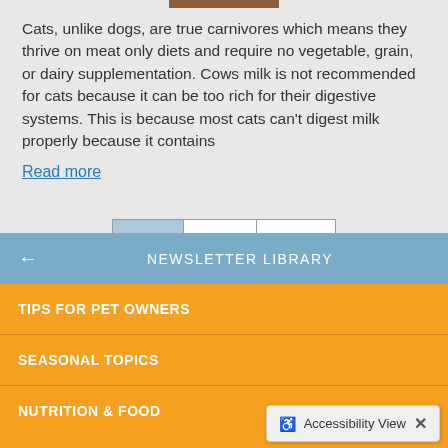[Figure (photo): Top portion of a photo strip showing what appears to be a brown/wooden surface, partially cropped at the top of the page]
Cats, unlike dogs, are true carnivores which means they thrive on meat only diets and require no vegetable, grain, or dairy supplementation. Cows milk is not recommended for cats because it can be too rich for their digestive systems. This is because most cats can't digest milk properly because it contains
Read more
[Figure (screenshot): Pagination control with a dropdown showing '1' and buttons labeled 'Next >' and 'Last >>']
NEWSLETTER LIBRARY
TIPS FOR PET OWNERS
SEASONAL TOPICS
NUTRITION & FOOD
Accessibility View